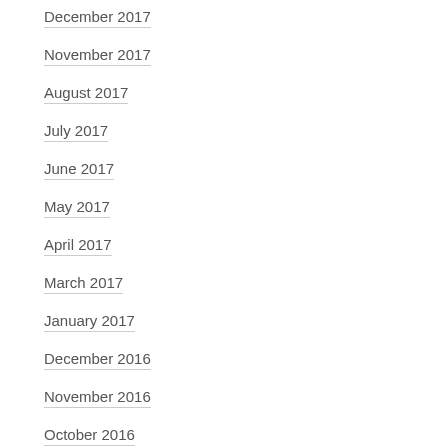December 2017
November 2017
August 2017
July 2017
June 2017
May 2017
April 2017
March 2017
January 2017
December 2016
November 2016
October 2016
September 2016
August 2016